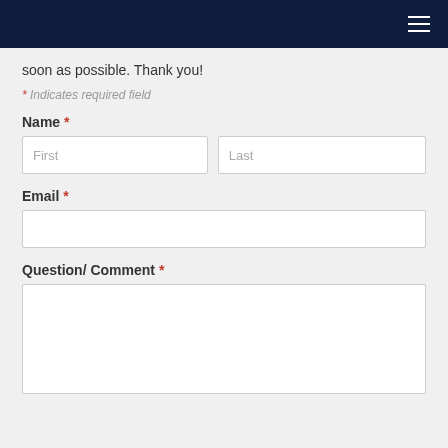Navigation bar with hamburger menu
soon as possible. Thank you!
* Indicates required field
Name *
Email *
Question/ Comment *